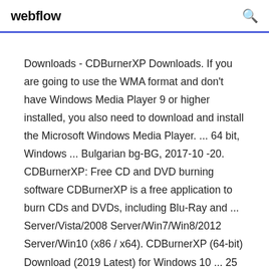webflow
Downloads - CDBurnerXP Downloads. If you are going to use the WMA format and don't have Windows Media Player 9 or higher installed, you also need to download and install the Microsoft Windows Media Player. ... 64 bit, Windows ... Bulgarian bg-BG, 2017-10 -20. CDBurnerXP: Free CD and DVD burning software CDBurnerXP is a free application to burn CDs and DVDs, including Blu-Ray and ... Server/Vista/2008 Server/Win7/Win8/2012 Server/Win10 (x86 / x64). CDBurnerXP (64-bit) Download (2019 Latest) for Windows 10 ... 25 Mar 2019 ... Download CDBurnerXP (64-bit) for Windows PC from FileHorse. 100% Safe and Secure ✓ Free